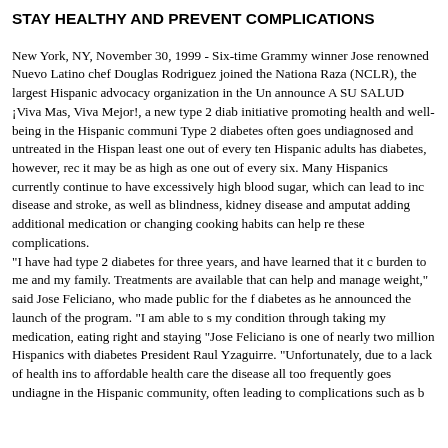STAY HEALTHY AND PREVENT COMPLICATIONS
New York, NY, November 30, 1999 - Six-time Grammy winner Jose renowned Nuevo Latino chef Douglas Rodriguez joined the National Raza (NCLR), the largest Hispanic advocacy organization in the Un announce A SU SALUD ¡Viva Mas, Viva Mejor!, a new type 2 diab initiative promoting health and well-being in the Hispanic communi Type 2 diabetes often goes undiagnosed and untreated in the Hispan least one out of every ten Hispanic adults has diabetes, however, rec it may be as high as one out of every six. Many Hispanics currently continue to have excessively high blood sugar, which can lead to inc disease and stroke, as well as blindness, kidney disease and amputat adding additional medication or changing cooking habits can help re these complications. "I have had type 2 diabetes for three years, and have learned that it c burden to me and my family. Treatments are available that can help and manage weight," said Jose Feliciano, who made public for the f diabetes as he announced the launch of the program. "I am able to s my condition through taking my medication, eating right and staying "Jose Feliciano is one of nearly two million Hispanics with diabetes President Raul Yzaguirre. "Unfortunately, due to a lack of health ins to affordable health care the disease all too frequently goes undiagne in the Hispanic community, often leading to complications such as b